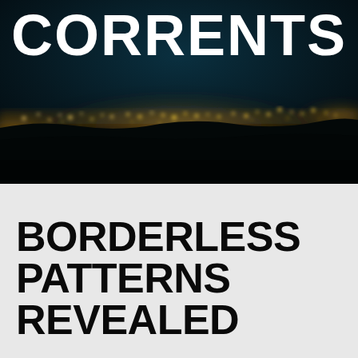[Figure (photo): Aerial night photograph showing city lights glowing across a dark landscape, viewed from high altitude. The lights form a bright horizontal band across the middle of the image against a dark teal-blue sky.]
CORRENTS
BORDERLESS PATTERNS REVEALED